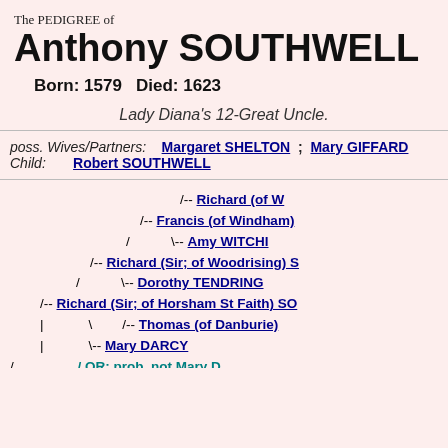The PEDIGREE of
Anthony SOUTHWELL
Born: 1579   Died: 1623
Lady Diana's 12-Great Uncle.
poss. Wives/Partners: Margaret SHELTON ; Mary GIFFARD
Child: Robert SOUTHWELL
[Figure (organizational-chart): Partial pedigree tree showing ancestors of Anthony SOUTHWELL including Richard (of W...), Francis (of Windham), Amy WITCHI..., Richard (Sir; of Woodrising) S..., Dorothy TENDRING, Richard (Sir; of Horsham St Faith) SO..., Thomas (of Danburie)..., Mary DARCY, OR: prob. not Mary D...]